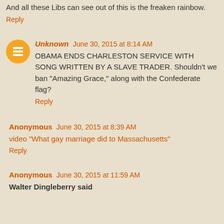And all these Libs can see out of this is the freaken rainbow.
Reply
Unknown  June 30, 2015 at 8:14 AM
OBAMA ENDS CHARLESTON SERVICE WITH SONG WRITTEN BY A SLAVE TRADER. Shouldn't we ban "Amazing Grace," along with the Confederate flag?
Reply
Anonymous  June 30, 2015 at 8:39 AM
video "What gay marriage did to Massachusetts"
Reply
Anonymous  June 30, 2015 at 11:59 AM
Walter Dingleberry said